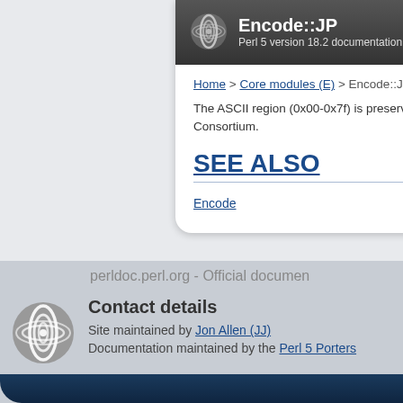Encode::JP — Perl 5 version 18.2 documentation
Home > Core modules (E) > Encode::JP
The ASCII region (0x00-0x7f) is preserved by the Unicode Consortium.
SEE ALSO
Encode
perldoc.perl.org - Official documentation
Contact details
Site maintained by Jon Allen (JJ)
Documentation maintained by the Perl 5 Porters